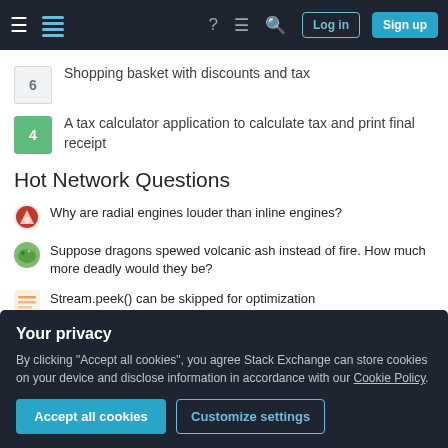Stack Exchange navigation bar with Log in and Sign up buttons
6 Shopping basket with discounts and tax
4 A tax calculator application to calculate tax and print final receipt
Hot Network Questions
Why are radial engines louder than inline engines?
Suppose dragons spewed volcanic ash instead of fire. How much more deadly would they be?
Stream.peek() can be skipped for optimization
Why do we need regularization for linear least squares given that a line is the simplest model possible?
Your privacy
By clicking "Accept all cookies", you agree Stack Exchange can store cookies on your device and disclose information in accordance with our Cookie Policy.